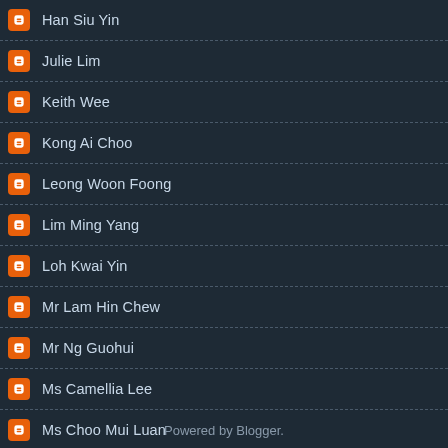Han Siu Yin
Julie Lim
Keith Wee
Kong Ai Choo
Leong Woon Foong
Lim Ming Yang
Loh Kwai Yin
Mr Lam Hin Chew
Mr Ng Guohui
Ms Camellia Lee
Ms Choo Mui Luan
Ngiow Shin Fatt
Peng Wee Chuen
Tan Chuan Leong
Powered by Blogger.